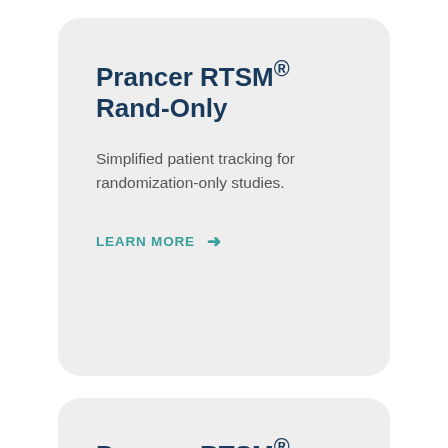Prancer RTSM® Rand-Only
Simplified patient tracking for randomization-only studies.
LEARN MORE →
Prancer RTSM® Platform